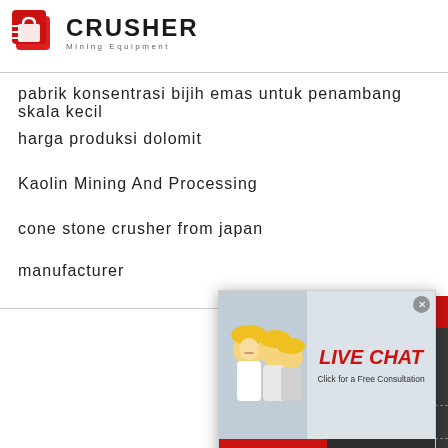[Figure (logo): Crusher Mining Equipment logo with red shopping bag icon and bold text CRUSHER, subtitle Mining Equipment]
pabrik konsentrasi bijih emas untuk penambang skala kecil
harga produksi dolomit
Kaolin Mining And Processing
cone stone crusher from japan
manufacturer
[Figure (screenshot): Live chat popup overlay with workers in hard hats, red LIVE CHAT text, Click for a Free Consultation, Chat now and Chat later buttons]
[Figure (infographic): Right sidebar with 24Hrs Online header, Need questions & suggestion text, Chat Now button, Enquiry link, limingjlmofen@sina.com email]